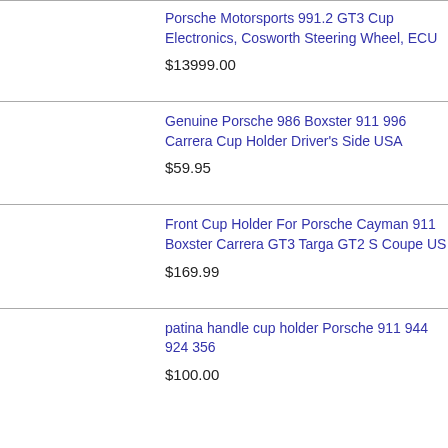Porsche Motorsports 991.2 GT3 Cup Electronics, Cosworth Steering Wheel, ECU
$13999.00
Genuine Porsche 986 Boxster 911 996 Carrera Cup Holder Driver's Side USA
$59.95
Front Cup Holder For Porsche Cayman 911 Boxster Carrera GT3 Targa GT2 S Coupe US
$169.99
patina handle cup holder Porsche 911 944 924 356
$100.00